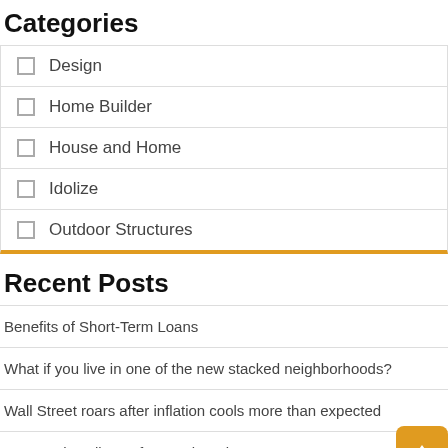Categories
Design
Home Builder
House and Home
Idolize
Outdoor Structures
Recent Posts
Benefits of Short-Term Loans
What if you live in one of the new stacked neighborhoods?
Wall Street roars after inflation cools more than expected
Savannah College of Art and Design Announces Four New Schools
2023 Fairmont Banff Springs Hotel Review